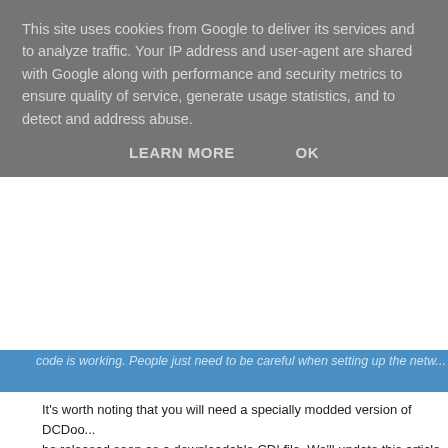This site uses cookies from Google to deliver its services and to analyze traffic. Your IP address and user-agent are shared with Google along with performance and security metrics to ensure quality of service, generate usage statistics, and to detect and address abuse.
LEARN MORE   OK
code is working. People just need to be careful when setting up the netw...
It's worth noting that you will need a specially modded version of DCDoo... be released soon as a downloadable CDI file. We'll update this article wh... tested it out ourselves, but in the meantime you can find out more about... visiting the DC-Talk forum thread on the topic here. Thank's to Luiz Nai f...
Source: Dreamcast Talk
5 comments:
Tags: DCJY News, Doom, Dreamcast Online, Indie Dev, Shuouma
Okinawa Rush Heads Up New Dreamcas...
By Tom Charnock